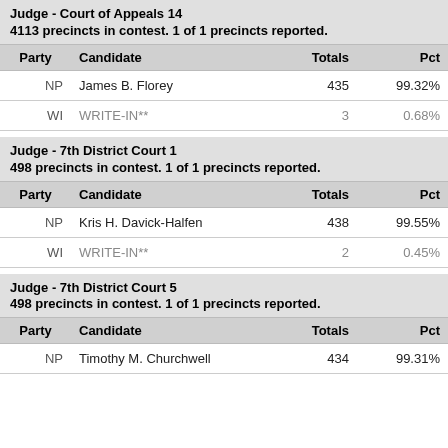| Party | Candidate | Totals | Pct |
| --- | --- | --- | --- |
| NP | James B. Florey | 435 | 99.32% |
| WI | WRITE-IN** | 3 | 0.68% |
| Party | Candidate | Totals | Pct |
| --- | --- | --- | --- |
| NP | Kris H. Davick-Halfen | 438 | 99.55% |
| WI | WRITE-IN** | 2 | 0.45% |
| Party | Candidate | Totals | Pct |
| --- | --- | --- | --- |
| NP | Timothy M. Churchwell | 434 | 99.31% |